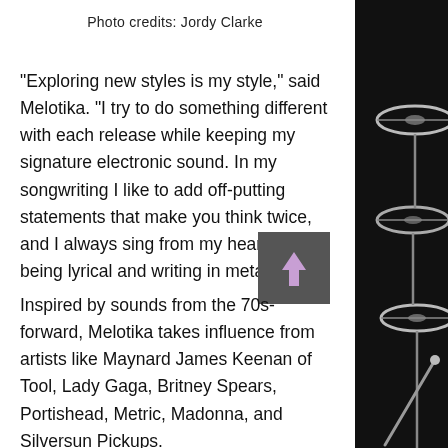Photo credits: Jordy Clarke
"Exploring new styles is my style," said Melotika. "I try to do something different with each release while keeping my signature electronic sound. In my songwriting I like to add off-putting statements that make you think twice, and I always sing from my heart. I enjoy being lyrical and writing in metaphors."
Inspired by sounds from the 70s-forward, Melotika takes influence from artists like Maynard James Keenan of Tool, Lady Gaga, Britney Spears, Portishead, Metric, Madonna, and Silversun Pickups.
[Figure (illustration): Illustration of drum cymbals on black background, right side of page]